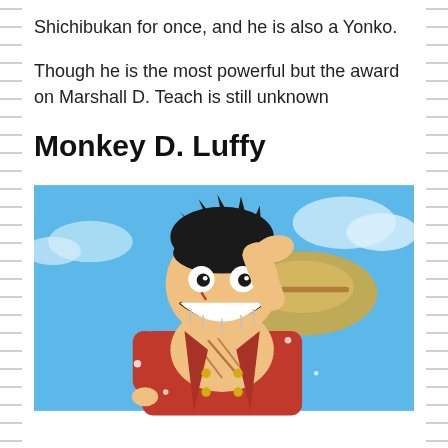Shichibukan for once, and he is also a Yonko.
Though he is the most powerful but the award on Marshall D. Teach is still unknown
Monkey D. Luffy
[Figure (illustration): Anime illustration of Monkey D. Luffy from One Piece, smiling broadly with his hand raised to his forehead, wearing a red open vest and his signature straw hat behind him, set against a blue sky background with clouds.]